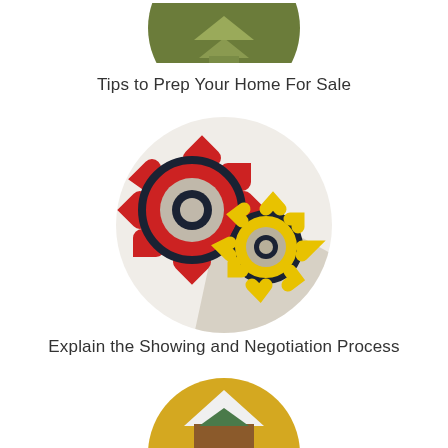[Figure (illustration): Partial green circle icon at top of page, showing bottom portion of a green circular badge with a house/home icon inside]
Tips to Prep Your Home For Sale
[Figure (illustration): Light grey circle with a red gear/cog (large, with dark navy ring center) and a yellow gear/cog (smaller) interlocking, with a grey diagonal shadow behind them]
Explain the Showing and Negotiation Process
[Figure (illustration): Partial golden/yellow circle icon at bottom of page, showing top portion of a golden circular badge with a house roofline icon inside]